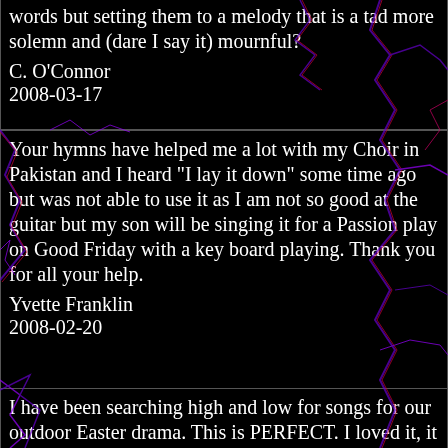words but setting them to a melody that is a tad more solemn and (dare I say it) mournful?
C. O'Connor
2008-03-17
Your hymns have helped me a lot with my Choir in Pakistan and I heard "I lay it down" some time ago but was not able to use it as I am not so good at the guitar but my son will be singing it for a Passion play on Good Friday with a key board playing. Thank you for all your help.
Yvette Franklin
2008-02-20
I have been searching high and low for songs for our outdoor Easter drama. This is PERFECT. I loved it, it brought tears to my eyes. It is all in there for the garden scene. I hope I am free to use it. Thanks and be blessed.
The singing was not shabby either.
Fran
2008-03-16